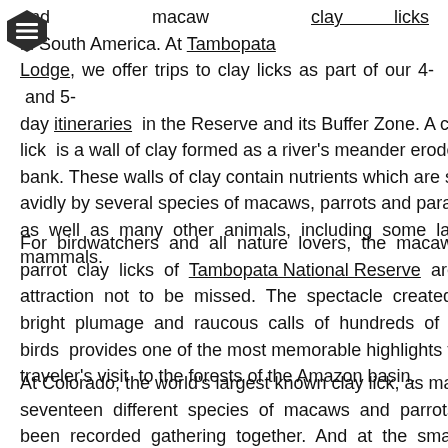[Figure (other): Dark hexagonal navigation/menu icon with three horizontal lines (hamburger menu) in the top-left corner of the page]
and macaw clay licks in South America. At Tambopata Lodge, we offer trips to clay licks as part of our 4- and 5-day itineraries in the Reserve and its Buffer Zone. A clay lick is a wall of clay formed as a river's meander erodes its bank. These walls of clay contain nutrients which are sought avidly by several species of macaws, parrots and parakeets, as well as many other animals, including some large mammals.
For birdwatchers and all nature lovers, the macaw and parrot clay licks of Tambopata National Reserve are an attraction not to be missed. The spectacle created by the bright plumage and raucous calls of hundreds of wild birds provides one of the most memorable highlights to any traveler's visit to the forests of the Amazon basin.
At Colorado, the world's largest known clay lick, as many as seventeen different species of macaws and parrots have been recorded gathering together. And at the smaller